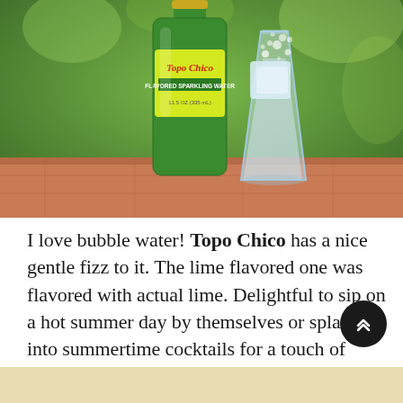[Figure (photo): A green Topo Chico Flavored Sparkling Water bottle next to a glass filled with sparkling water and ice, sitting on a surface outdoors with green foliage in the background.]
I love bubble water! Topo Chico has a nice gentle fizz to it. The lime flavored one was flavored with actual lime. Delightful to sip on a hot summer day by themselves or splash into summertime cocktails for a touch of refreshing fizz. Stay tuned for a fun recipe!